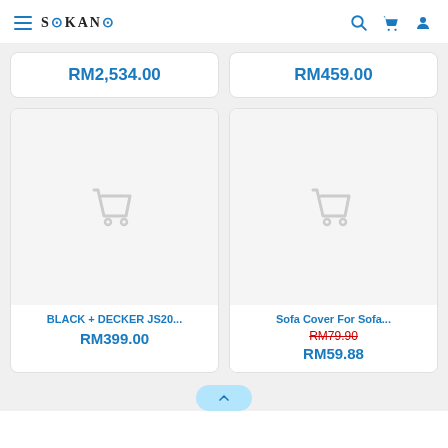SOKANO
RM2,534.00
RM459.00
[Figure (screenshot): Product card placeholder with cart icon for BLACK + DECKER JS20...]
BLACK + DECKER JS20...
RM399.00
[Figure (screenshot): Product card placeholder with cart icon for Sofa Cover For Sofa...]
Sofa Cover For Sofa...
RM79.90
RM59.88